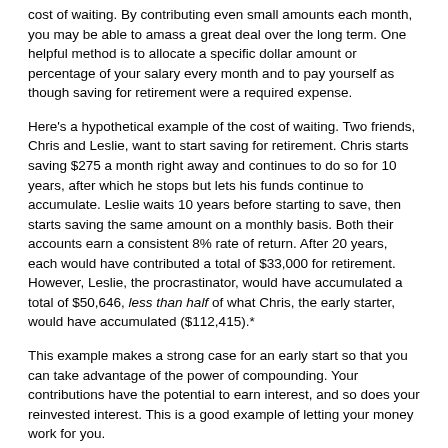cost of waiting. By contributing even small amounts each month, you may be able to amass a great deal over the long term. One helpful method is to allocate a specific dollar amount or percentage of your salary every month and to pay yourself as though saving for retirement were a required expense.
Here's a hypothetical example of the cost of waiting. Two friends, Chris and Leslie, want to start saving for retirement. Chris starts saving $275 a month right away and continues to do so for 10 years, after which he stops but lets his funds continue to accumulate. Leslie waits 10 years before starting to save, then starts saving the same amount on a monthly basis. Both their accounts earn a consistent 8% rate of return. After 20 years, each would have contributed a total of $33,000 for retirement. However, Leslie, the procrastinator, would have accumulated a total of $50,646, less than half of what Chris, the early starter, would have accumulated ($112,415).*
This example makes a strong case for an early start so that you can take advantage of the power of compounding. Your contributions have the potential to earn interest, and so does your reinvested interest. This is a good example of letting your money work for you.
If you have trouble saving money on a regular basis, you might try savings strategies that take money directly from your paycheck on a pre-tax or after-tax basis, such as employer-sponsored retirement plans and other direct-payroll deductions.